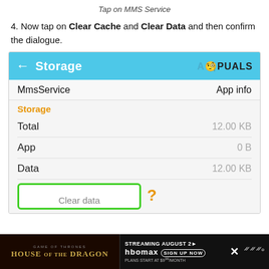Tap on MMS Service
4. Now tap on Clear Cache and Clear Data and then confirm the dialogue.
[Figure (screenshot): Android Storage screen for MmsService showing Total: 12.00 KB, App: 0 B, Data: 12.00 KB, with Clear data button highlighted in green border. Appuals watermark logo visible. Ad banner at bottom for House of the Dragon on HBO Max.]